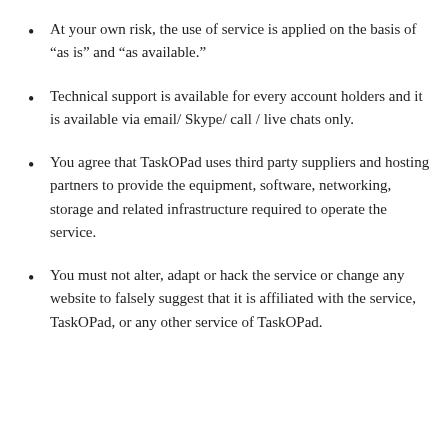At your own risk, the use of service is applied on the basis of “as is” and “as available.”
Technical support is available for every account holders and it is available via email/ Skype/ call / live chats only.
You agree that TaskOPad uses third party suppliers and hosting partners to provide the equipment, software, networking, storage and related infrastructure required to operate the service.
You must not alter, adapt or hack the service or change any website to falsely suggest that it is affiliated with the service, TaskOPad, or any other service of TaskOPad.